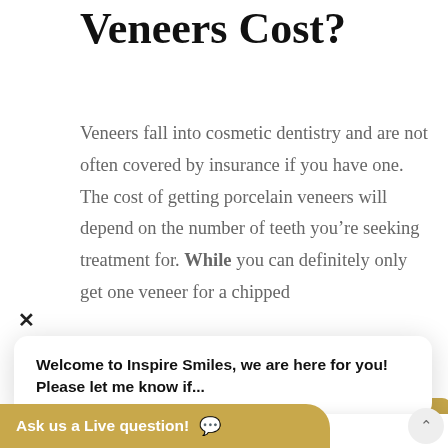Veneers Cost?
Veneers fall into cosmetic dentistry and are not often covered by insurance if you have one. The cost of getting porcelain veneers will depend on the number of teeth you're seeking treatment for. While you can definitely only get one veneer for a chipped
Welcome to Inspire Smiles, we are here for you! Please let me know if...
Write a message...
from the doctor
Porcelain Veneers in
Ask us a Live question!